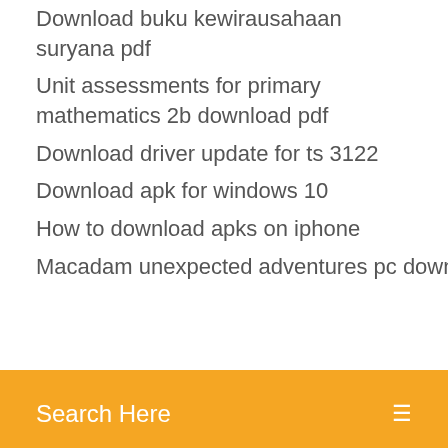Download buku kewirausahaan suryana pdf
Unit assessments for primary mathematics 2b download pdf
Download driver update for ts 3122
Download apk for windows 10
How to download apks on iphone
Macadam unexpected adventures pc download
[Figure (screenshot): Orange search bar with text 'Search Here' and a menu icon on the right]
How to download videos on instagram android
Download infinity mod tool
Free basic computer courses pdf download
Download a file from the command line
Download drivers for vpcf215fx
Whatsapp for android 2.3.6 free download apk
Unable to save download minecraft 2019
How to download apks on iphone
Evenicle game cg torrent download
Download earlier versions of r studio